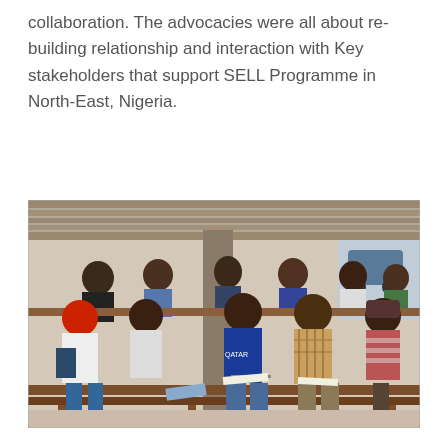collaboration. The advocacies were all about re-building relationship and interaction with Key stakeholders that support SELL Programme in North-East, Nigeria.
[Figure (photo): Group of young men sitting on wooden benches in an outdoor or semi-open space, writing on papers/documents. Several rows of participants are visible, engaged in a written activity, likely part of a SELL Programme session in North-East Nigeria.]